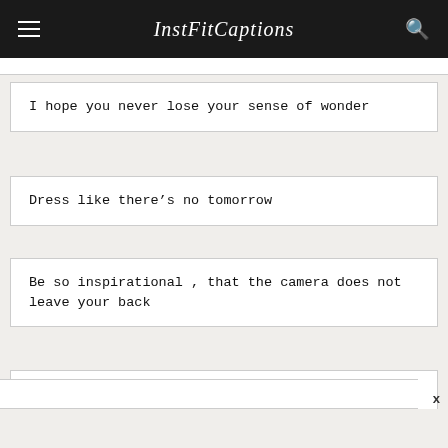InstaFitCaptions
I hope you never lose your sense of wonder
Dress like there’s no tomorrow
Be so inspirational , that the camera does not leave your back
Good people are always beautiful